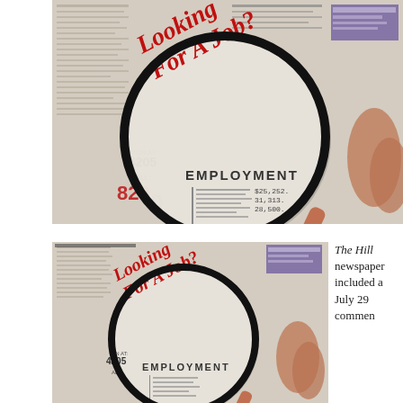[Figure (photo): Magnifying glass over newspaper employment classified ads section, text 'Looking For A Job?' in red bold diagonal text inside the magnifying glass lens, 'EMPLOYMENT' printed below it, partial phone numbers visible including 4205 and 820, hand holding magnifying glass on right side]
[Figure (photo): Smaller version of same image: magnifying glass over newspaper employment classified ads section, text 'Looking For A Job?' in red bold diagonal text inside the magnifying glass lens, 'EMPLOYMENT' printed below it, partial numbers 4205 visible, hand holding magnifying glass on right side]
The Hill newspaper included a July 29 commen